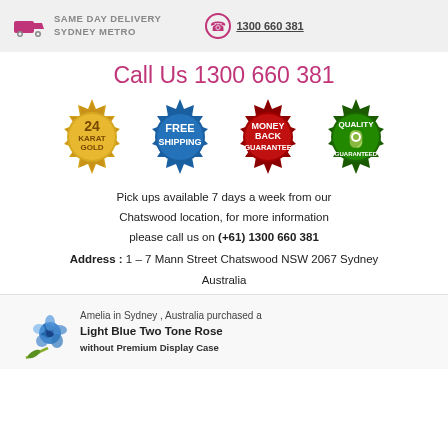SAME DAY DELIVERY SYDNEY METRO  1300 660 381
Call Us 1300 660 381
[Figure (infographic): Four circular badge icons: 24 Karat Gold (gold), Free Shipping (blue), Money Back Guarantee (red), Quality Guaranteed (green)]
Pick ups available 7 days a week from our Chatswood location, for more information please call us on (+61) 1300 660 381
Address : 1 – 7 Mann Street Chatswood NSW 2067 Sydney Australia
Amelia in Sydney , Australia purchased a Light Blue Two Tone Rose without Premium Display Case